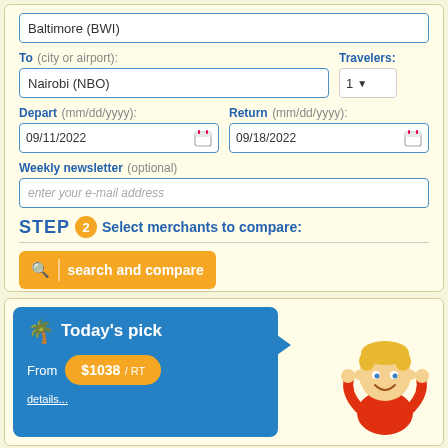Baltimore (BWI)
To (city or airport): Nairobi (NBO)
Travelers: 1
Depart (mm/dd/yyyy): 09/11/2022
Return (mm/dd/yyyy): 09/18/2022
Weekly newsletter (optional): enter your e-mail address
STEP 2 Select merchants to compare:
search and compare
[Figure (infographic): Today's pick banner showing From $1038 / RT with a cartoon mascot character on the right]